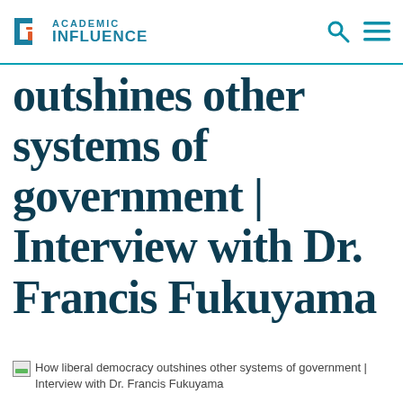ACADEMIC INFLUENCE
outshines other systems of government | Interview with Dr. Francis Fukuyama
How liberal democracy outshines other systems of government | Interview with Dr. Francis Fukuyama